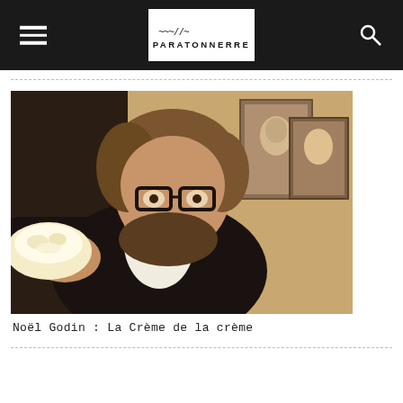PARATONNERRE
[Figure (photo): A bearded man with glasses and a bow tie holding out a cream-filled pastry toward the camera, standing in front of framed portraits on a wall. Warm vintage tones.]
Noël Godin : La Crème de la crème